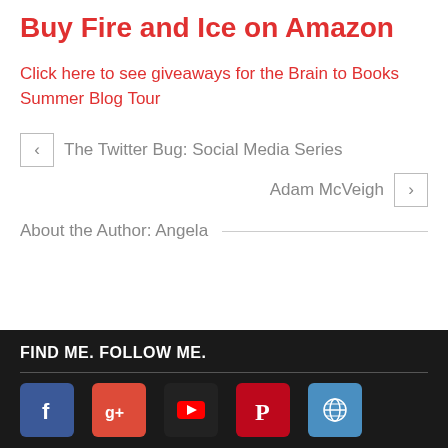Buy Fire and Ice on Amazon
Click here to see giveaways for the Brain to Books Summer Blog Tour
< The Twitter Bug: Social Media Series
Adam McVeigh >
About the Author: Angela
FIND ME. FOLLOW ME.